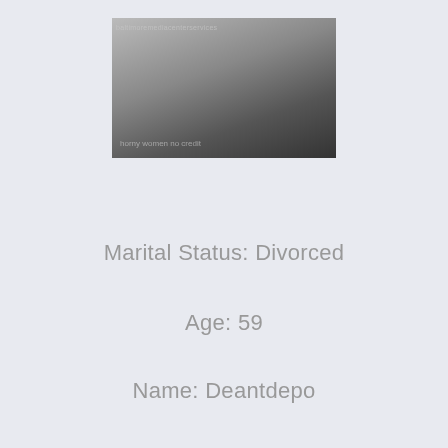[Figure (photo): Photo of a person with watermark text 'baltimoremediacenterservices' and 'horny women no credit']
Marital Status: Divorced
Age: 59
Name: Deantdepo